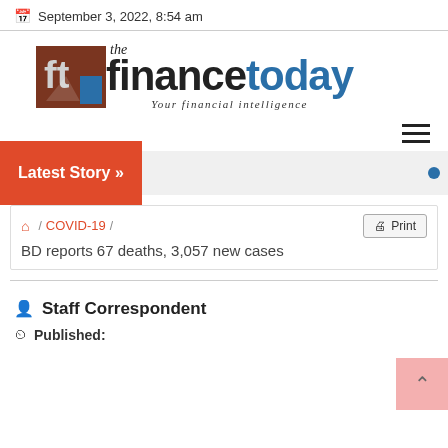September 3, 2022, 8:54 am
[Figure (logo): The Finance Today logo — red/brown icon with 'ft' letters, bold text 'the financetoday', tagline 'Your financial intelligence']
Latest Story »
🏠 / COVID-19 / BD reports 67 deaths, 3,057 new cases  Print
Staff Correspondent
Published: